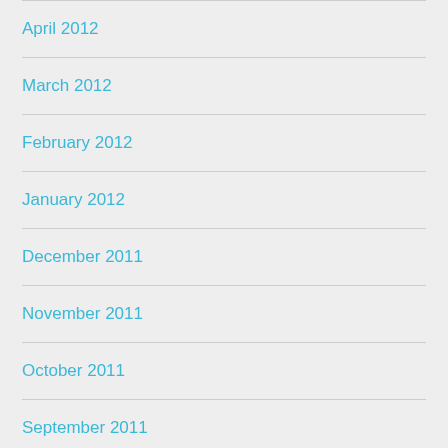April 2012
March 2012
February 2012
January 2012
December 2011
November 2011
October 2011
September 2011
August 2011